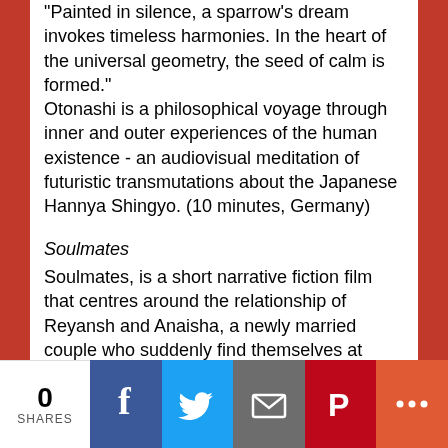'Painted in silence, a sparrow's dream invokes timeless harmonies. In the heart of the universal geometry, the seed of calm is formed.' Otonashi is a philosophical voyage through inner and outer experiences of the human existence - an audiovisual meditation of futuristic transmutations about the Japanese Hannya Shingyo. (10 minutes, Germany)
Soulmates
Soulmates, is a short narrative fiction film that centres around the relationship of Reyansh and Anaisha, a newly married couple who suddenly find themselves at crossroads on a chilly winter night. What happened to them? Where did their love go? Did the rigid patriarchal value embedded in their families make their love disappear? Find out in this dark twisted thriller where a quarrel turns into a nightmare. (14 minutes, United States/India)
Koio
0 SHARES | Facebook | Twitter | Email | Pinterest | More